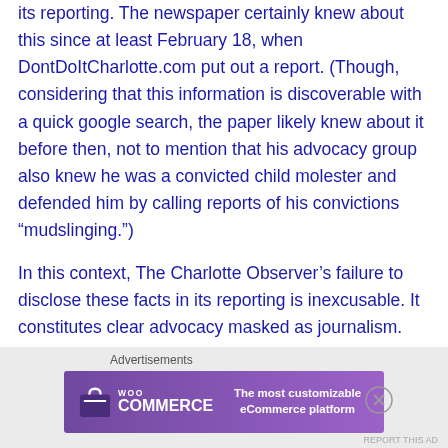its reporting. The newspaper certainly knew about this since at least February 18, when DontDoItCharlotte.com put out a report. (Though, considering that this information is discoverable with a quick google search, the paper likely knew about it before then, not to mention that his advocacy group also knew he was a convicted child molester and defended him by calling reports of his convictions “mudslinging.”)
In this context, The Charlotte Observer’s failure to disclose these facts in its reporting is inexcusable. It constitutes clear advocacy masked as journalism.
Carolina Plotthound’s leading headlines have been all over this story today:
[Figure (other): WooCommerce advertisement banner: purple gradient background with WooCommerce logo on left and text 'The most customizable eCommerce platform' on right. Labeled 'Advertisements' above.]